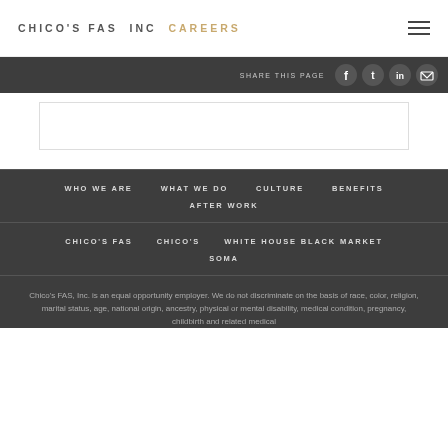CHICO'S FAS INC CAREERS
SHARE THIS PAGE
WHO WE ARE   WHAT WE DO   CULTURE   BENEFITS   AFTER WORK
CHICO'S FAS   CHICO'S   WHITE HOUSE BLACK MARKET   SOMA
Chico's FAS, Inc. is an equal opportunity employer. We do not discriminate on the basis of race, color, religion, marital status, age, national origin, ancestry, physical or mental disability, medical condition, pregnancy, childbirth and related medical